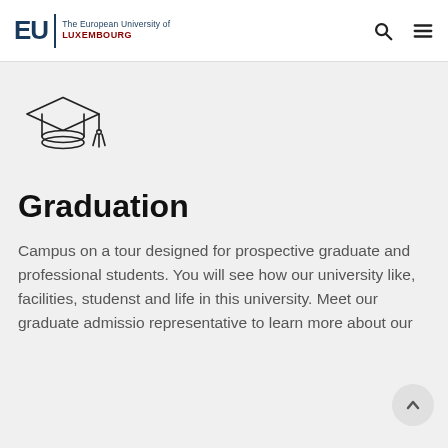EU | The European University of LUXEMBOURG
[Figure (illustration): Graduation cap icon, line art style, black on light grey background]
Graduation
Campus on a tour designed for prospective graduate and professional students. You will see how our university like, facilities, studenst and life in this university. Meet our graduate admissio representative to learn more about our